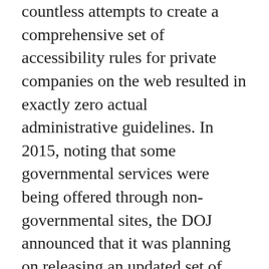countless attempts to create a comprehensive set of accessibility rules for private companies on the web resulted in exactly zero actual administrative guidelines. In 2015, noting that some governmental services were being offered through non-governmental sites, the DOJ announced that it was planning on releasing an updated set of rules in early 2016 to finally provide clear guidance on compliance expectations for public websites.
That never happened.
Noting the ambiguous legal space occupied by commercial websites offering core business services online, an uptick in accessibility lawsuits began over the next two years, as lawyers used tort law to test the boundaries of